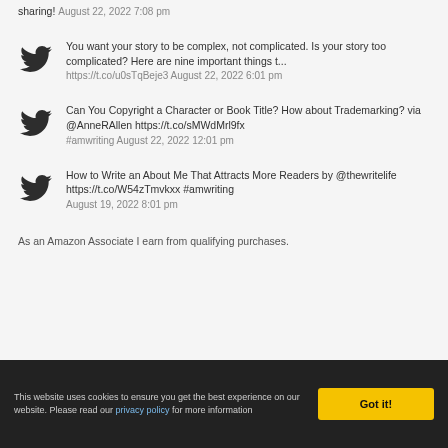sharing! August 22, 2022 7:08 pm
You want your story to be complex, not complicated. Is your story too complicated? Here are nine important things t... https://t.co/u0sTqBeje3 August 22, 2022 6:01 pm
Can You Copyright a Character or Book Title? How about Trademarking? via @AnneRAllen https://t.co/sMWdMrl9fx #amwriting August 22, 2022 12:01 pm
How to Write an About Me That Attracts More Readers by @thewritelife https://t.co/W54zTmvkxx #amwriting August 19, 2022 8:01 pm
As an Amazon Associate I earn from qualifying purchases.
This website uses cookies to ensure you get the best experience on our website. Please read our privacy policy for more information   Got it!